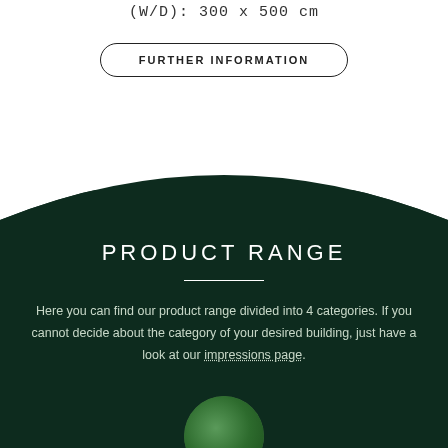(W/D): 300 x 500 cm
FURTHER INFORMATION
PRODUCT RANGE
Here you can find our product range divided into 4 categories. If you cannot decide about the category of your desired building, just have a look at our impressions page.
[Figure (photo): Circular thumbnail photo of a green garden or outdoor building scene, partially visible at the bottom of the page]